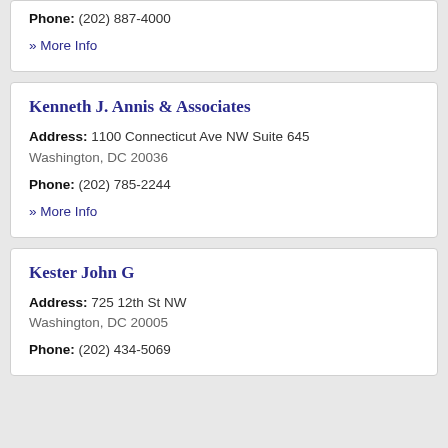Phone: (202) 887-4000
» More Info
Kenneth J. Annis & Associates
Address: 1100 Connecticut Ave NW Suite 645 Washington, DC 20036
Phone: (202) 785-2244
» More Info
Kester John G
Address: 725 12th St NW Washington, DC 20005
Phone: (202) 434-5069